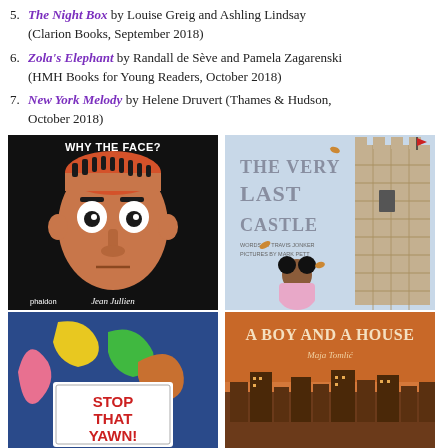5. The Night Box by Louise Greig and Ashling Lindsay (Clarion Books, September 2018)
6. Zola's Elephant by Randall de Sève and Pamela Zagarenski (HMH Books for Young Readers, October 2018)
7. New York Melody by Helene Druvert (Thames & Hudson, October 2018)
[Figure (photo): Book cover of 'Why the Face?' by Jean Jullien, published by Phaidon. Black background with illustrated cartoon face.]
[Figure (photo): Book cover of 'The Very Last Castle' by Travis Jonker, illustrated by Mark Pett. Shows a girl in pink dress next to a large stone castle tower.]
[Figure (photo): Book cover of 'Stop That Yawn!' with colorful illustrated characters on blue background.]
[Figure (photo): Book cover of 'A Boy and a House' by Maja Tomlić, with orange/brown tones showing a cityscape.]